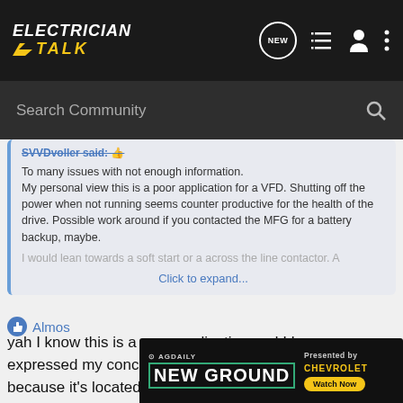ELECTRICIAN TALK
Search Community
SVVDvoller said:
To many issues with not enough information.
My personal view this is a poor application for a VFD. Shutting off the power when not running seems counter productive for the health of the drive. Possible work around if you contacted the MFG for a battery backup, maybe.
I would lean towards a soft start or a across the line contactor. A
Click to expand...
yah I know this is a poor application and I have expressed my concerns. They reason they want this is because it's located up in northern Canada and it gets down to -40c in the winter time so they don't want the fans running at full speed unless the engine is at operating temp.
[Figure (screenshot): AG Daily New Ground advertisement banner with Chevrolet branding and Watch Now button]
Almos...